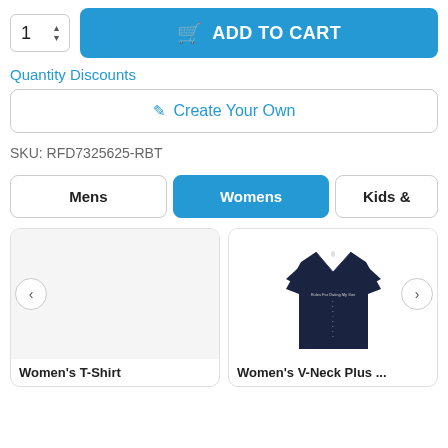[Figure (screenshot): E-commerce product page showing quantity selector, ADD TO CART button, Quantity Discounts link, Create Your Own button, SKU, category tabs (Mens, Womens, Kids &), and product cards (Women's T-Shirt, Women's V-Neck Plus ...) with a navy v-neck t-shirt image]
SKU: RFD7325625-RBT
Quantity Discounts
Create Your Own
Mens
Womens
Kids &
Women's T-Shirt
Women's V-Neck Plus ...